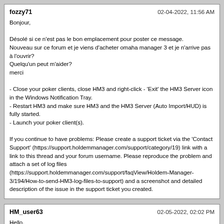fozzy71 — 02-04-2022, 11:56 AM
Bonjour,

Désolé si ce n'est pas le bon emplacement pour poster ce message.
Nouveau sur ce forum et je viens d'acheter omaha manager 3 et je n'arrive pas à l'ouvrir?
Quelqu'un peut m'aider?
merci

- Close your poker clients, close HM3 and right-click - 'Exit' the HM3 Server icon in the Windows Notification Tray.
- Restart HM3 and make sure HM3 and the HM3 Server (Auto Import/HUD) is fully started.
- Launch your poker client(s).

If you continue to have problems: Please create a support ticket via the 'Contact Support' (https://support.holdemmanager.com/support/category/19) link with a link to this thread and your forum username. Please reproduce the problem and attach a set of log files (https://support.holdemmanager.com/support/faqView/Holdem-Manager-3/194/How-to-send-HM3-log-files-to-support) and a screenshot and detailed description of the issue in the support ticket you created.
HM_user63 — 02-05-2022, 02:02 PM
Hello,

Quickfilter/Date range/(every range: From Today to everything else) has no effect on "Total hands" in the upper part of the report (both predefined and personal reports): "Total hands" always shows the complete number of hands in the database (independent from the date range filter applied).
Only the lower part of the report (showing hands in detail) reacts on the date range filter.